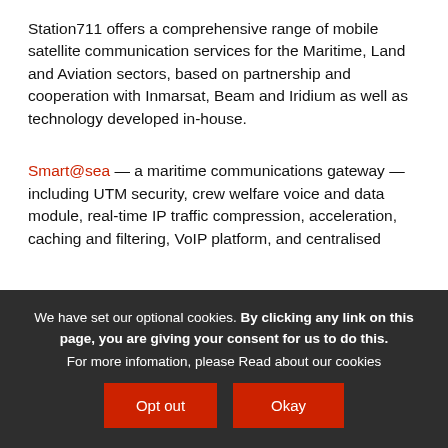Station711 offers a comprehensive range of mobile satellite communication services for the Maritime, Land and Aviation sectors, based on partnership and cooperation with Inmarsat, Beam and Iridium as well as technology developed in-house.
Smart@sea — a maritime communications gateway — including UTM security, crew welfare voice and data module, real-time IP traffic compression, acceleration, caching and filtering, VoIP platform, and centralised
We have set our optional cookies. By clicking any link on this page, you are giving your consent for us to do this. For more infomation, please Read about our cookies
Opt out
Okay